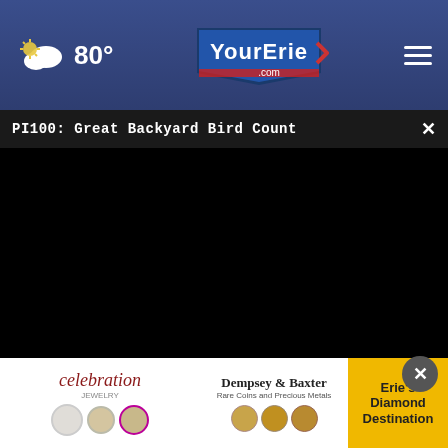[Figure (screenshot): Website navigation header bar with weather icon showing 80 degrees, YourErie.com logo in center, and hamburger menu icon on right, on dark blue background]
PI100: Great Backyard Bird Count
[Figure (screenshot): Black video player area with play button, mute button, and fullscreen expand icon visible on controls]
Common Signs Your Body is Fighting Lung Cancer
Lung Cancer - Sponsored
[Figure (other): Advertisement banner for Celebration Jewelry featuring Dempsey & Baxter Rare Coins and Precious Metals, with Erie's Diamond Destination text on yellow background]